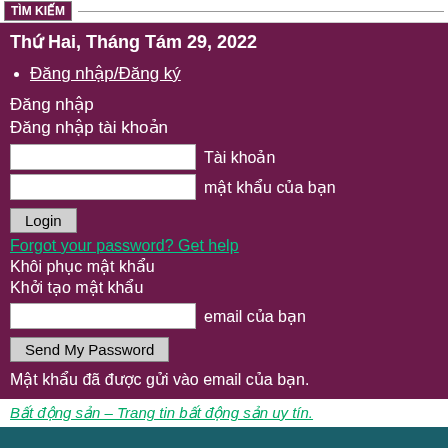TÌM KIẾM
Thứ Hai, Tháng Tám 29, 2022
Đăng nhập/Đăng ký
Đăng nhập
Đăng nhập tài khoản
Tài khoản
mật khẩu của bạn
Login
Forgot your password? Get help
Khôi phục mật khẩu
Khởi tạo mật khẩu
email của bạn
Send My Password
Mật khẩu đã được gửi vào email của bạn.
Bất động sản – Trang tin bất động sản uy tín.
Trang chủ
Kinh tế
Nhà đất
Nội...